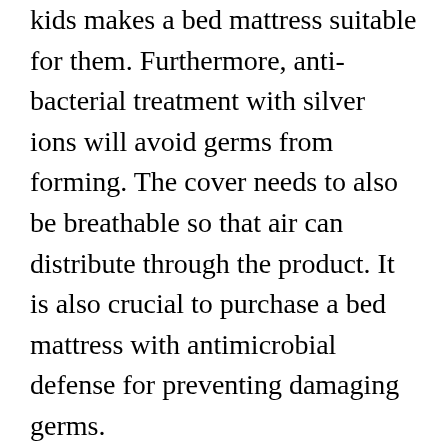kids makes a bed mattress suitable for them. Furthermore, anti-bacterial treatment with silver ions will avoid germs from forming. The cover needs to also be breathable so that air can distribute through the product. It is also crucial to purchase a bed mattress with antimicrobial defense for preventing damaging germs.
The lifespan of a mattress refers to the time it takes for its initial comfort and support to break down. This differs from one producer to the next. A low-quality foam convenience layer might just last for a year, while a premium innerspring core might last as